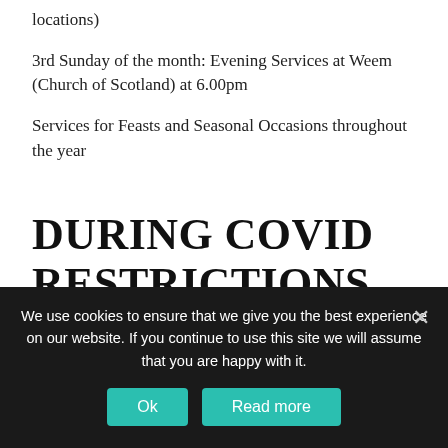locations)
3rd Sunday of the month: Evening Services at Weem (Church of Scotland) at 6.00pm
Services for Feasts and Seasonal Occasions throughout the year
DURING COVID RESTRICTIONS
Please click the link below for access to online services:
http://www.hplc.scot/home/news/calendar
We use cookies to ensure that we give you the best experience on our website. If you continue to use this site we will assume that you are happy with it.